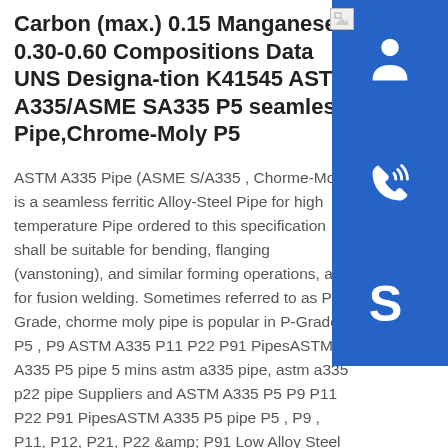Carbon (max.) 0.15 Manganese 0.30-0.60 Compositions Data UNS Designa-tion K41545 ASTM A335/ASME SA335 P5 seamless Pipe,Chrome-Moly P5
ASTM A335 Pipe (ASME S/A335 , Chorme-Moly) is a seamless ferritic Alloy-Steel Pipe for high temperature Pipe ordered to this specification shall be suitable for bending, flanging (vanstoning), and similar forming operations, and for fusion welding. Sometimes referred to as P Grade, chorme moly pipe is popular in P-Grades P5 , P9 ASTM A335 P11 P22 P91 PipesASTM A335 P5 pipe 5 mins astm a335 pipe, astm a335 p22 pipe Suppliers and ASTM A335 P5 P9 P11 P22 P91 PipesASTM A335 P5 pipe P5 , P9 , P11, P12, P21, P22 &amp; P91 Low Alloy Steel Pipe specification company Shandong Yizhong Commercial Trade Co. about other information of the steel pipe ,please contact with me. our factory manufacture all kinds of carbon steel pipe ,alloy pipe and so on. 7 mins A335 Pipe American Piping ProductsScope Required Markings on Each Length Reference Documents
[Figure (illustration): Customer service icon (headset/person) on blue background]
[Figure (illustration): Phone/call icon on blue background]
[Figure (illustration): Skype icon on blue background]